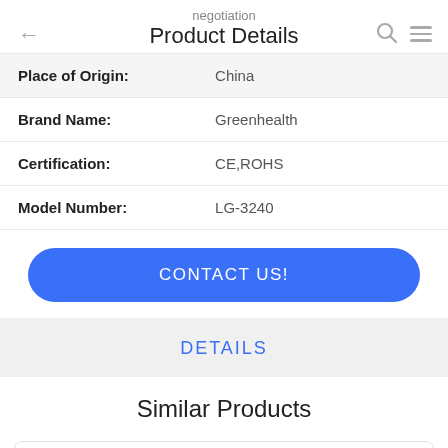negotiation
Product Details
| Place of Origin: | China |
| Brand Name: | Greenhealth |
| Certification: | CE,ROHS |
| Model Number: | LG-3240 |
CONTACT US!
DETAILS
Similar Products
Multi-Deck Chillers